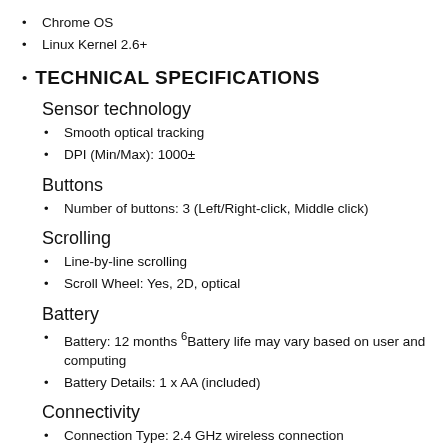Chrome OS
Linux Kernel 2.6+
TECHNICAL SPECIFICATIONS
Sensor technology
Smooth optical tracking
DPI (Min/Max): 1000±
Buttons
Number of buttons: 3 (Left/Right-click, Middle click)
Scrolling
Line-by-line scrolling
Scroll Wheel: Yes, 2D, optical
Battery
Battery: 12 months 6Battery life may vary based on user and computing
Battery Details: 1 x AA (included)
Connectivity
Connection Type: 2.4 GHz wireless connection
Wireless range: 10 m 7Wireless range may vary based on user,